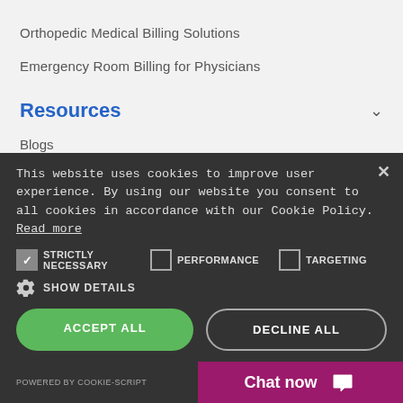Orthopedic Medical Billing Solutions
Emergency Room Billing for Physicians
Resources
Blogs
This website uses cookies to improve user experience. By using our website you consent to all cookies in accordance with our Cookie Policy. Read more
STRICTLY NECESSARY  PERFORMANCE  TARGETING
SHOW DETAILS
ACCEPT ALL
DECLINE ALL
POWERED BY COOKIE-SCRIPT
Chat now